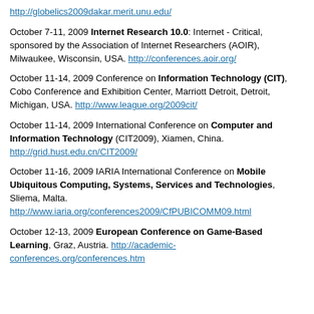http://globelics2009dakar.merit.unu.edu/
October 7-11, 2009 Internet Research 10.0: Internet - Critical, sponsored by the Association of Internet Researchers (AOIR), Milwaukee, Wisconsin, USA. http://conferences.aoir.org/
October 11-14, 2009 Conference on Information Technology (CIT), Cobo Conference and Exhibition Center, Marriott Detroit, Detroit, Michigan, USA. http://www.league.org/2009cit/
October 11-14, 2009 International Conference on Computer and Information Technology (CIT2009), Xiamen, China. http://grid.hust.edu.cn/CIT2009/
October 11-16, 2009 IARIA International Conference on Mobile Ubiquitous Computing, Systems, Services and Technologies, Sliema, Malta. http://www.iaria.org/conferences2009/CfPUBICOMM09.html
October 12-13, 2009 European Conference on Game-Based Learning, Graz, Austria. http://academic-conferences.org/conferences.htm